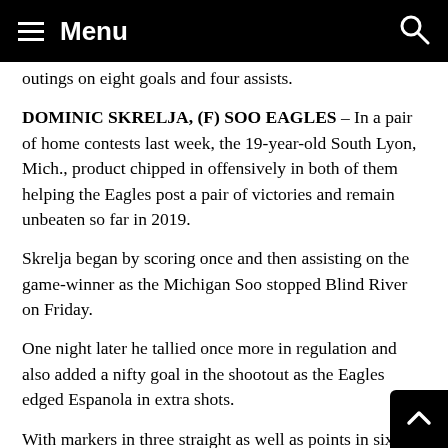Menu
outings on eight goals and four assists.
DOMINIC SKRELJA, (F) SOO EAGLES – In a pair of home contests last week, the 19-year-old South Lyon, Mich., product chipped in offensively in both of them helping the Eagles post a pair of victories and remain unbeaten so far in 2019.
Skrelja began by scoring once and then assisting on the game-winner as the Michigan Soo stopped Blind River on Friday.
One night later he tallied once more in regulation and also added a nifty goal in the shootout as the Eagles edged Espanola in extra shots.
With markers in three straight as well as points in six consecutive games, Skrelja is playing near a point-p...